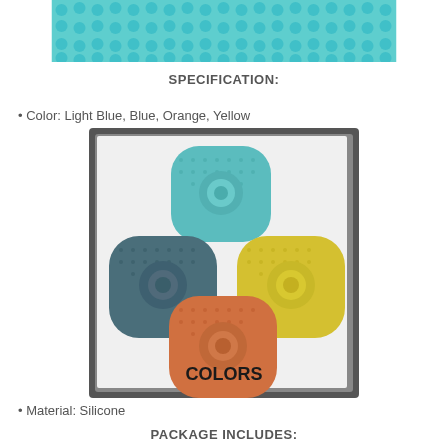[Figure (photo): Close-up photo of light blue silicone bristles/spikes arranged in rows, viewed from above]
SPECIFICATION:
Color: Light Blue, Blue, Orange, Yellow
[Figure (photo): Four silicone drain cover/hair catcher products in four colors: light blue (top), dark blue (left), orange (bottom), yellow (right), with label COLORS at bottom]
Material: Silicone
PACKAGE INCLUDES: